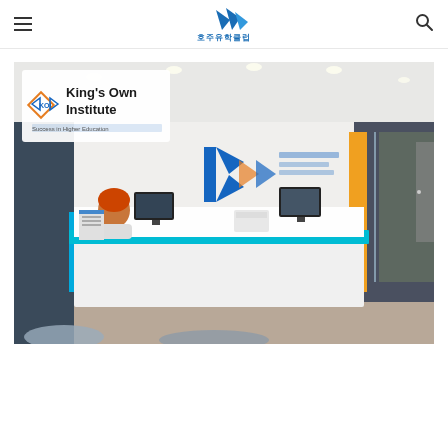호주유학클럽 (Australia Study Club) — navigation header with menu icon, logo, and search icon
[Figure (photo): Interior photo of King's Own Institute (KOI) reception/lobby area showing a modern white desk with light blue trim, KOI branding on the wall with blue K logo and arrows, staff and computer monitors at the desk, corridor visible in background. A King's Own Institute logo overlay appears in the top-left corner of the image.]